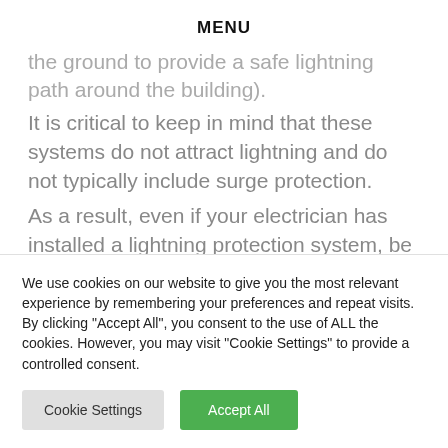MENU
the ground to provide a safe lightning path around the building).
It is critical to keep in mind that these systems do not attract lightning and do not typically include surge protection.
As a result, even if your electrician has installed a lightning protection system, be sure to use surge protectors for your equipment.
We use cookies on our website to give you the most relevant experience by remembering your preferences and repeat visits. By clicking "Accept All", you consent to the use of ALL the cookies. However, you may visit "Cookie Settings" to provide a controlled consent.